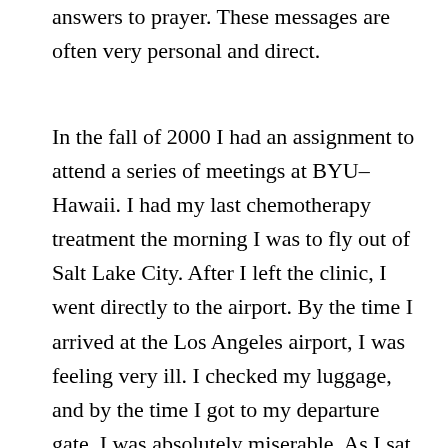answers to prayer. These messages are often very personal and direct.
In the fall of 2000 I had an assignment to attend a series of meetings at BYU–Hawaii. I had my last chemotherapy treatment the morning I was to fly out of Salt Lake City. After I left the clinic, I went directly to the airport. By the time I arrived at the Los Angeles airport, I was feeling very ill. I checked my luggage, and by the time I got to my departure gate, I was absolutely miserable. As I sat down, leaning against the wall, I thought about the coach seats in the plane and how tight it would be with my chemo, the idea of